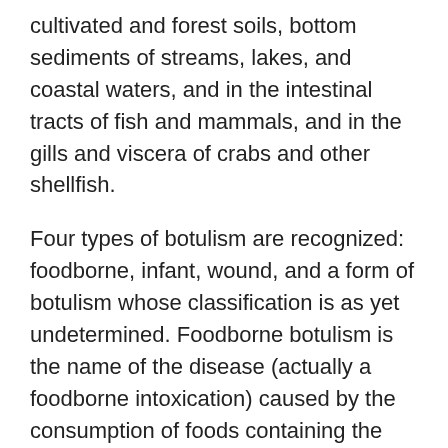cultivated and forest soils, bottom sediments of streams, lakes, and coastal waters, and in the intestinal tracts of fish and mammals, and in the gills and viscera of crabs and other shellfish.
Four types of botulism are recognized: foodborne, infant, wound, and a form of botulism whose classification is as yet undetermined. Foodborne botulism is the name of the disease (actually a foodborne intoxication) caused by the consumption of foods containing the neurotoxin produced by C. botulinum.
Most of the 10 to 30 botulism outbreaks that are reported annually in the United States are associated with inadequately processed, home-canned foods, but occasionally commercially produced foods have been implicated in illnesses as well.